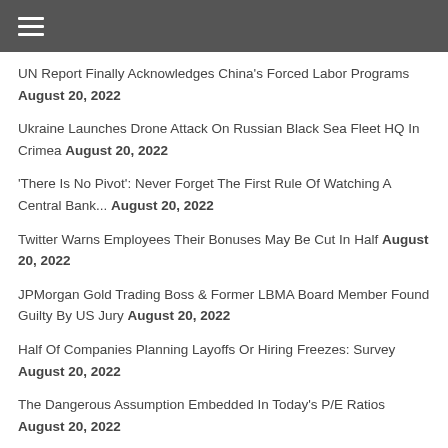≡ (hamburger menu)
UN Report Finally Acknowledges China's Forced Labor Programs August 20, 2022
Ukraine Launches Drone Attack On Russian Black Sea Fleet HQ In Crimea August 20, 2022
'There Is No Pivot': Never Forget The First Rule Of Watching A Central Bank... August 20, 2022
Twitter Warns Employees Their Bonuses May Be Cut In Half August 20, 2022
JPMorgan Gold Trading Boss & Former LBMA Board Member Found Guilty By US Jury August 20, 2022
Half Of Companies Planning Layoffs Or Hiring Freezes: Survey August 20, 2022
The Dangerous Assumption Embedded In Today's P/E Ratios August 20, 2022
Winter Is Coming For The UK August 20, 2022 Generated by Feedzy